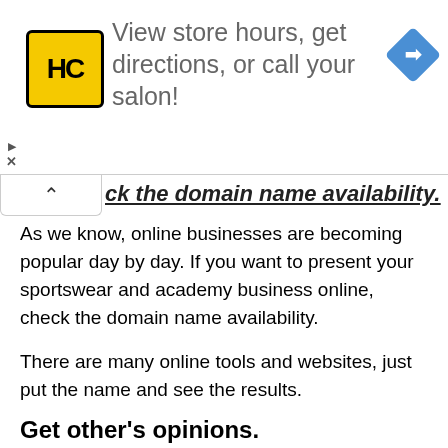[Figure (infographic): Advertisement banner for Supercuts (HC logo) with text 'View store hours, get directions, or call your salon!' and a blue navigation diamond icon on the right.]
ck the domain name availability.
As we know, online businesses are becoming popular day by day. If you want to present your sportswear and academy business online, check the domain name availability.
There are many online tools and websites, just put the name and see the results.
Get other’s opinions.
Once you have picked your favorite names, get others’ opinions. People’s opinion matters as they are the customers of your sports items or services.